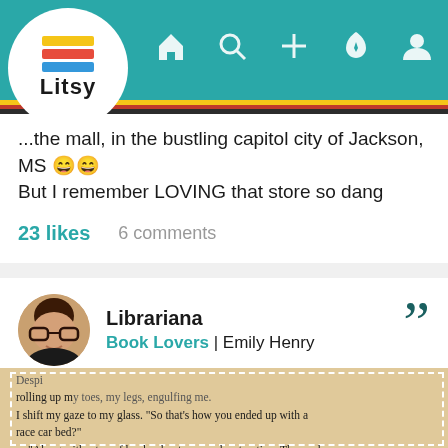[Figure (screenshot): Litsy app navigation bar with logo, home, search, add, activity, and profile icons on teal background with colored stripes]
...the mall, in the bustling capitol city of Jackson, MS 😄😄 But I remember LOVING that store so dang much! 2w
23 likes   6 comments
Librariana
Book Lovers | Emily Henry
[Figure (photo): Photo of book pages showing text from Book Lovers by Emily Henry]